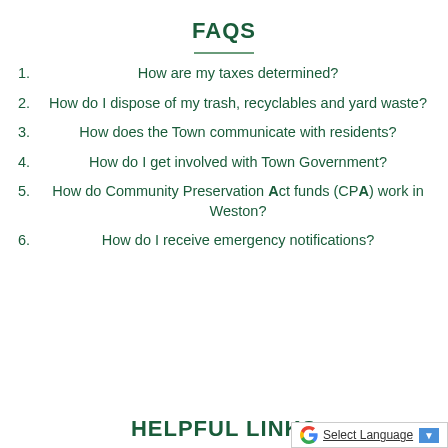FAQS
1. How are my taxes determined?
2. How do I dispose of my trash, recyclables and yard waste?
3. How does the Town communicate with residents?
4. How do I get involved with Town Government?
5. How do Community Preservation Act funds (CPA) work in Weston?
6. How do I receive emergency notifications?
HELPFUL LINKS